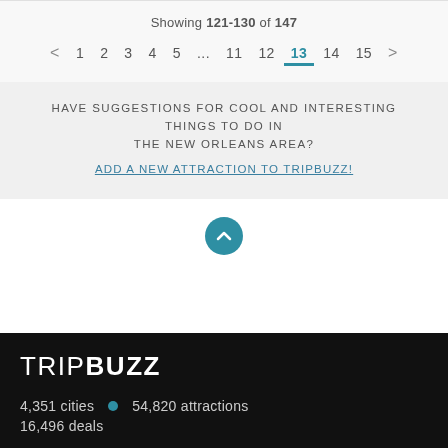Showing 121-130 of 147
< 1 2 3 4 5 ... 11 12 13 14 15 >
HAVE SUGGESTIONS FOR COOL AND INTERESTING THINGS TO DO IN THE NEW ORLEANS AREA? ADD A NEW ATTRACTION TO TRIPBUZZ!
[Figure (illustration): Teal circular scroll-to-top button with upward chevron arrow]
TRIPBUZZ
4,351 cities • 54,820 attractions
16,496 deals